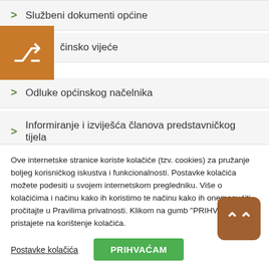> Službeni dokumenti općine
> ...činsko vijeće
> Odluke općinskog načelnika
> Informiranje i izviješća članova predstavničkog tijela
> Javne nabave
Ove internetske stranice koriste kolačiće (tzv. cookies) za pružanje boljeg korisničkog iskustva i funkcionalnosti. Postavke kolačića možete podesiti u svojem internetskom pregledniku. Više o kolačićima i načinu kako ih koristimo te načinu kako ih onemogućiti pročitajte u Pravilima privatnosti. Klikom na gumb "PRIHVAĆAM" pristajete na korištenje kolačića.
Postavke kolačića
PRIHVAĆAM